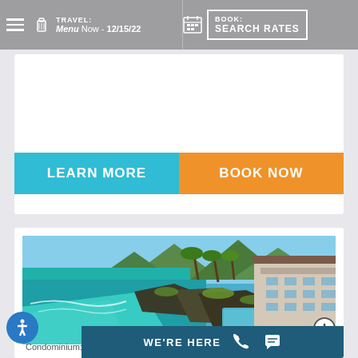TRAVEL: Now - 12/15/22 | BOOK: SEARCH RATES
LEARN MORE | BOOK NOW
[Figure (photo): Aerial view of Poipu Shores condominium resort on rocky coastline of Kauai, Hawaii, with turquoise ocean water, pool area, palm trees, and mountains in background]
Poipu Shores
Condominium: Poipu, Kauai
WE'RE HERE